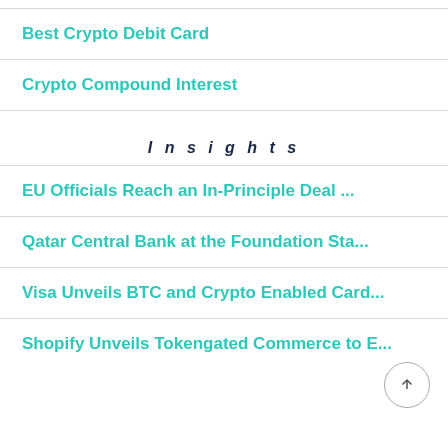Best Crypto Debit Card
Crypto Compound Interest
Insights
EU Officials Reach an In-Principle Deal ...
Qatar Central Bank at the Foundation Sta...
Visa Unveils BTC and Crypto Enabled Card...
Shopify Unveils Tokengated Commerce to E...